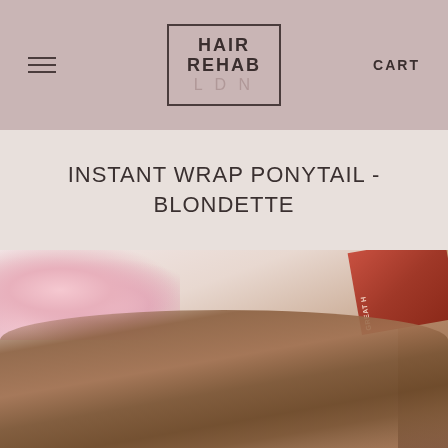Hair Rehab LDN — CART
INSTANT WRAP PONYTAIL - BLONDETTE
[Figure (photo): Product photo showing a blondette/brunette wrap ponytail hair extension displayed on a marble surface, with pink cherry blossom flowers in the top left and a red mascara/beauty product in the top right corner.]